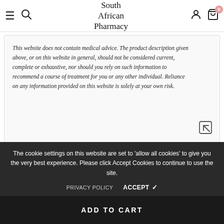South African Pharmacy
This website does not contain medical advice. The product description given above, or on this website in general, should not be considered current, complete or exhaustive, nor should you rely on such information to recommend a course of treatment for you or any other individual. Reliance on any information provided on this website is solely at your own risk.
The cookie settings on this website are set to 'allow all cookies' to give you the very best experience. Please click Accept Cookies to continue to use the site.
PRIVACY POLICY  ACCEPT ✔
To
Please consult your Doctor or physician for personalized medical advice. Always see... physician or other
ADD TO CART